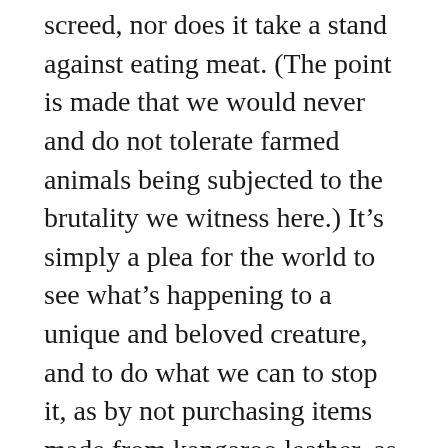screed, nor does it take a stand against eating meat. (The point is made that we would never and do not tolerate farmed animals being subjected to the brutality we witness here.) It’s simply a plea for the world to see what’s happening to a unique and beloved creature, and to do what we can to stop it, as by not purchasing items made from kangaroo leather, as soccer cleats often are. The film is a call for a more thoughtful husbandry of nature, one that does not value animals more than humans, but one that does not cause unnecessary suffering of animals, either. It’s a fairly small ask, yet one that we are